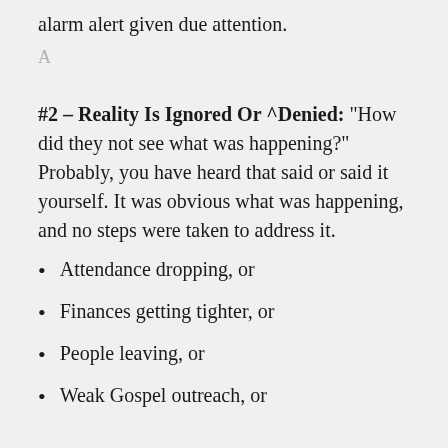alarm alert given due attention.
A
#2 – Reality Is Ignored Or ^Denied: “How did they not see what was happening?” Probably, you have heard that said or said it yourself. It was obvious what was happening, and no steps were taken to address it.
Attendance dropping, or
Finances getting tighter, or
People leaving, or
Weak Gospel outreach, or